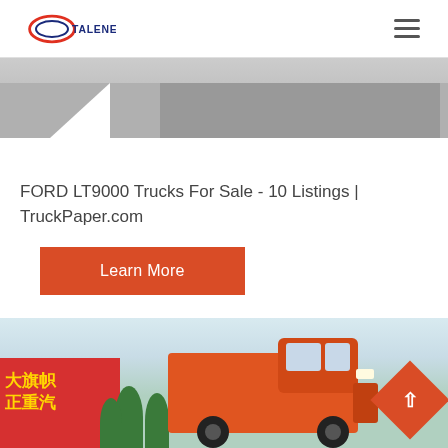TALENET
[Figure (photo): Partial road/asphalt surface image, cropped at top]
FORD LT9000 Trucks For Sale - 10 Listings | TruckPaper.com
Learn More
[Figure (photo): Orange heavy truck parked in front of a red banner with Chinese text and green trees, mountain background]